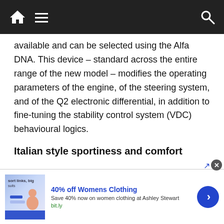Navigation bar with home, menu, and search icons
available and can be selected using the Alfa DNA. This device – standard across the entire range of the new model – modifies the operating parameters of the engine, of the steering system, and of the Q2 electronic differential, in addition to fine-tuning the stability control system (VDC) behavioural logics.
Italian style sportiness and comfort
Combining sportiness and elegance, the Alfa Giulietta is the result of Alfa Romeo's new direction in style and technology – an approach that started with the 8C Competizione supercar and which recalls the brand's glorious past while projecting its traditional values of
[Figure (screenshot): Advertisement banner: 40% off Womens Clothing, Save 40% now on women clothing at Ashley Stewart, bit.ly, with thumbnail image and blue arrow button]